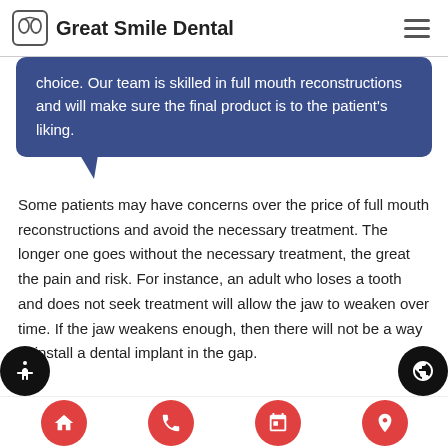Great Smile Dental
choice. Our team is skilled in full mouth reconstructions and will make sure the final product is to the patient's liking.
Some patients may have concerns over the price of full mouth reconstructions and avoid the necessary treatment. The longer one goes without the necessary treatment, the great the pain and risk. For instance, an adult who loses a tooth and does not seek treatment will allow the jaw to weaken over time. If the jaw weakens enough, then there will not be a way to install a dental implant in the gap.